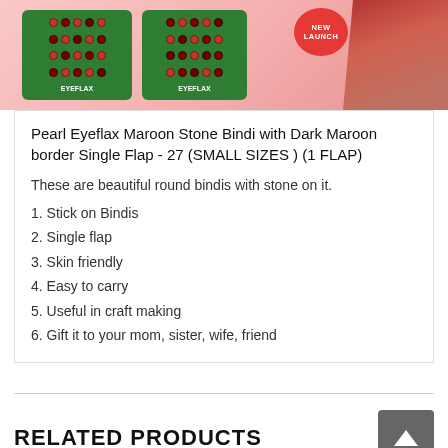[Figure (photo): Product image showing Pearl Eyeflax Maroon Stone Bindi cards on a pink/red background with a woman in a red saree and a New Launch badge]
Pearl Eyeflax Maroon Stone Bindi with Dark Maroon border Single Flap - 27 (SMALL SIZES ) (1 FLAP)
These are beautiful round bindis with stone on it.
1. Stick on Bindis
2. Single flap
3. Skin friendly
4. Easy to carry
5. Useful in craft making
6. Gift it to your mom, sister, wife, friend
RELATED PRODUCTS